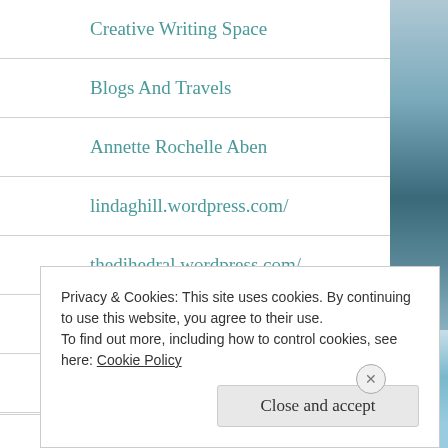Creative Writing Space
Blogs And Travels
Annette Rochelle Aben
lindaghill.wordpress.com/
thedihedral.wordpress.com/
Chateau Cherie
Sowmya's Spicy Corner
Privacy & Cookies: This site uses cookies. By continuing to use this website, you agree to their use.
To find out more, including how to control cookies, see here: Cookie Policy
Close and accept